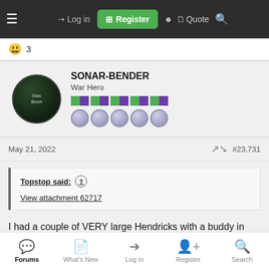≡  →) Log in  ⊞ Register  ● 🗒 Quote 🔍
😊 3
SONAR-BENDER
War Hero
May 21, 2022  #23,731
Topstop said: ↑
View attachment 62717
I had a couple of VERY large Hendricks with a buddy in Gib a couple of weeks ago. Wow, what a weird and very
Forums  What's New  Log In  Register  Search